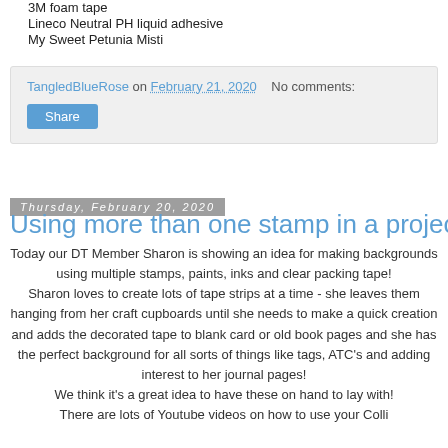3M foam tape
Lineco Neutral PH liquid adhesive
My Sweet Petunia Misti
TangledBlueRose on February 21, 2020   No comments:
Share
Thursday, February 20, 2020
Using more than one stamp in a project
Today our DT Member Sharon is showing an idea for making backgrounds using multiple stamps, paints, inks and clear packing tape! Sharon loves to create lots of tape strips at a time - she leaves them hanging from her craft cupboards until she needs to make a quick creation and adds the decorated tape to blank card or old book pages and she has the perfect background for all sorts of things like tags, ATC's and adding interest to her journal pages! We think it's a great idea to have these on hand to lay with! There are lots of Youtube videos on how to use your Colli